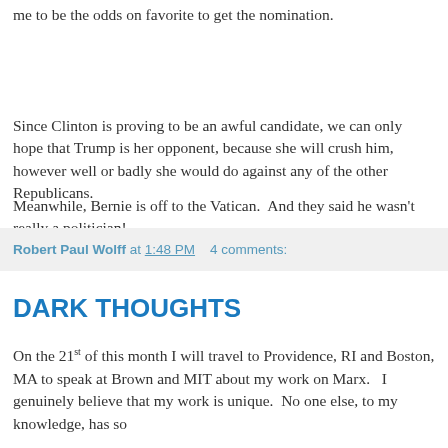me to be the odds on favorite to get the nomination.
Since Clinton is proving to be an awful candidate, we can only hope that Trump is her opponent, because she will crush him, however well or badly she would do against any of the other Republicans.
Meanwhile, Bernie is off to the Vatican.  And they said he wasn't really a politician!
Robert Paul Wolff at 1:48 PM    4 comments:
DARK THOUGHTS
On the 21st of this month I will travel to Providence, RI and Boston, MA to speak at Brown and MIT about my work on Marx.   I genuinely believe that my work is unique.  No one else, to my knowledge, has so